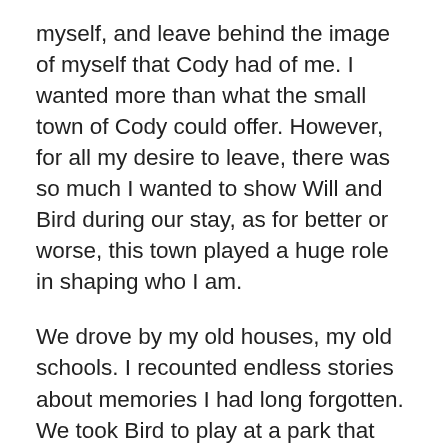myself, and leave behind the image of myself that Cody had of me. I wanted more than what the small town of Cody could offer. However, for all my desire to leave, there was so much I wanted to show Will and Bird during our stay, as for better or worse, this town played a huge role in shaping who I am.
We drove by my old houses, my old schools. I recounted endless stories about memories I had long forgotten. We took Bird to play at a park that was brand new when I was young and was recently updated and made new again. I was able to meet up with one of my best friends and we leapt at the opportunity to see the latest Fast and Furious movie at the